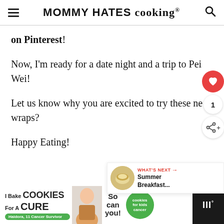MOMMY HATES cooking®
on Pinterest!
Now, I'm ready for a date night and a trip to Pei Wei!
Let us know why you are excited to try these new wraps?
Happy Eating!
[Figure (screenshot): Ad banner: I Bake COOKIES For A CURE / Haidora, 11 Cancer Survivor / So can you! / cookies for kids cancer logo / close button / MW logo]
[Figure (infographic): What's Next arrow with Summer Breakfast... thumbnail and label]